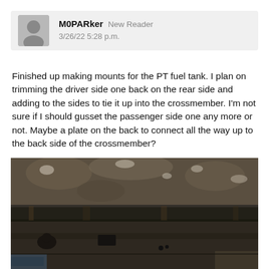M0PARker  New Reader
3/26/22 5:28 p.m.
Finished up making mounts for the PT fuel tank.  I plan on trimming the driver side one back on the rear side and adding to the sides to tie it up into the crossmember.  I'm not sure if I should gusset the passenger side one any more or not.  Maybe a plate on the back to connect all the way up to the back side of the crossmember?
[Figure (photo): Photograph of a vehicle undercarriage showing rusty metal crossmember and structural components, viewed from below. Dark, aged metal with rust and dirt visible.]